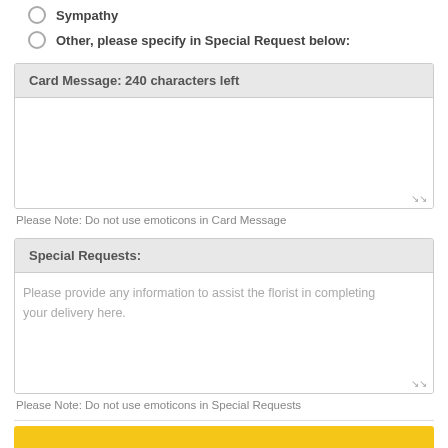Sympathy
Other, please specify in Special Request below:
Card Message: 240 characters left
Please Note: Do not use emoticons in Card Message
Special Requests:
Please provide any information to assist the florist in completing your delivery here.
Please Note: Do not use emoticons in Special Requests